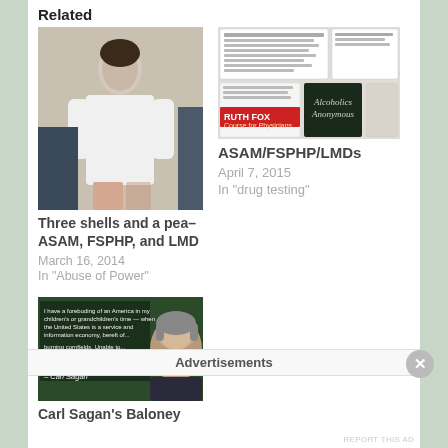Related
[Figure (photo): Woman in white coat sitting]
Three shells and a pea– ASAM, FSPHP, and LMD
March 16, 2014
In "Abuse of Power"
[Figure (photo): Document pages collage with Ruth Fox Course for Physicians and Alcoholics Anonymous book]
ASAM/FSPHP/LMDs
April 7, 2015
In "drug testing"
[Figure (photo): Carl Sagan portrait with quote text overlay on green background]
Carl Sagan's Baloney
Advertisements